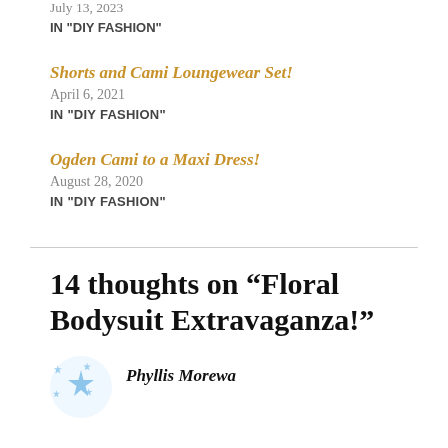July 13, 2023
IN "DIY FASHION"
Shorts and Cami Loungewear Set!
April 6, 2021
IN "DIY FASHION"
Ogden Cami to a Maxi Dress!
August 28, 2020
IN "DIY FASHION"
14 thoughts on “Floral Bodysuit Extravaganza!”
Phyllis Morewa